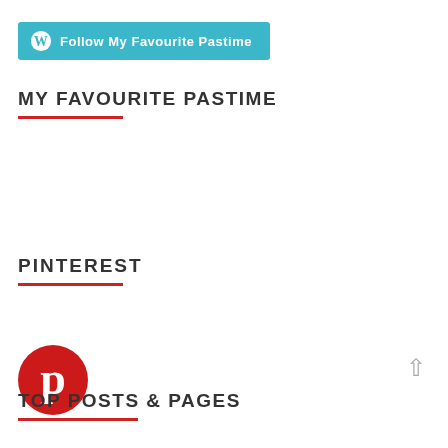[Figure (logo): WordPress Follow button — teal/cyan rounded rectangle with WordPress W circle icon and text 'Follow My Favourite Pastime' in white bold]
MY FAVOURITE PASTIME
PINTEREST
[Figure (logo): Pinterest red circle logo with white P pin icon]
TOP POSTS & PAGES